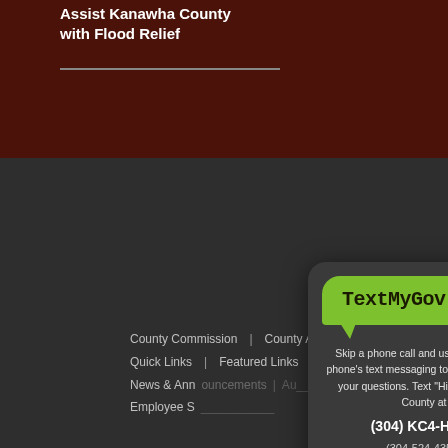Assist Kanawha County with Flood Relief
County Commission | County Agencies | Quick Links | Featured Links | News & Announcements | Employee S...
[Figure (screenshot): TextMyGov popup dialog box with green speech bubble logo saying 'TextMyGov', and text: 'Skip a phone call and use your mobile phone's text messaging to find answers to your questions. Text "Hi" to Kanawha County at (304) KC4-HELP (304-524-4357)'. A green 'More Info' button is visible at the bottom.]